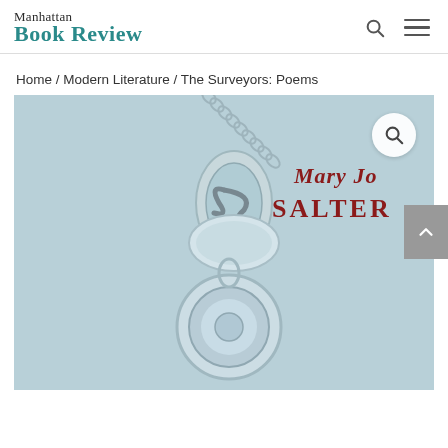Manhattan Book Review
Home / Modern Literature / The Surveyors: Poems
[Figure (photo): Book cover of 'The Surveyors: Poems' by Mary Jo Salter. Light blue background with a close-up photo of a silver necklace clasp (spring ring clasp and lobster claw connector). Author name 'Mary Jo SALTER' appears in dark red serif text on the right side of the cover.]